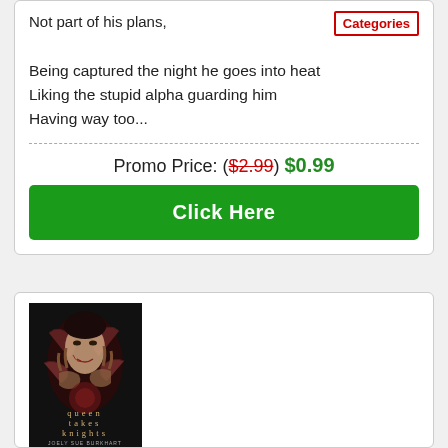Not part of his plans,
Categories
Being captured the night he goes into heat
Liking the stupid alpha guarding him
Having way too...
Promo Price: ($2.99) $0.99
Click Here
[Figure (illustration): Book cover for 'queen takes knights' by Joely Sue Burkhart — dark fantasy cover showing a woman with decorative hands around her face]
JULY 12, 2022